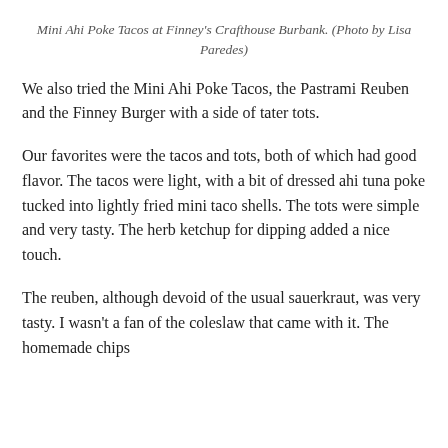Mini Ahi Poke Tacos at Finney's Crafthouse Burbank. (Photo by Lisa Paredes)
We also tried the Mini Ahi Poke Tacos, the Pastrami Reuben and the Finney Burger with a side of tater tots.
Our favorites were the tacos and tots, both of which had good flavor. The tacos were light, with a bit of dressed ahi tuna poke tucked into lightly fried mini taco shells. The tots were simple and very tasty. The herb ketchup for dipping added a nice touch.
The reuben, although devoid of the usual sauerkraut, was very tasty. I wasn't a fan of the coleslaw that came with it. The homemade chips with...